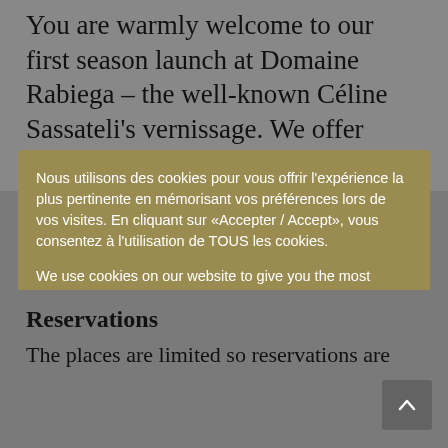You are warmly welcome to our first season launch at Domaine Rabiega – the well-known Céline Sassateli's vernissage. We offer wine bar,
Nous utilisons des cookies pour vous offrir l'expérience la plus pertinente en mémorisant vos préférences lors de vos visites. En cliquant sur «Accepter / Accept», vous consentez à l'utilisation de TOUS les cookies.

We use cookies on our website to give you the most relevant experience by remembering your preferences and repeat visits. By clicking "Accepter / Accept", you consent to the use of ALL the cookies.
Paramètres / Settings
Accepter / Accept
Reservations
The places are limited so reservations are